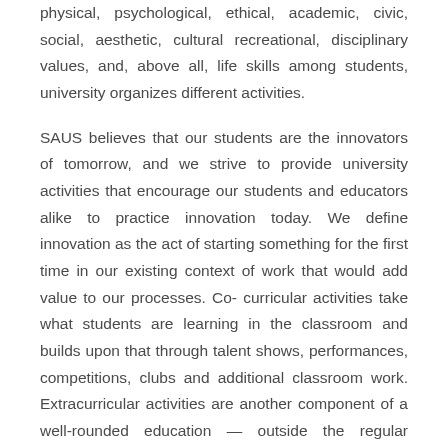physical, psychological, ethical, academic, civic, social, aesthetic, cultural recreational, disciplinary values, and, above all, life skills among students, university organizes different activities.
SAUS believes that our students are the innovators of tomorrow, and we strive to provide university activities that encourage our students and educators alike to practice innovation today. We define innovation as the act of starting something for the first time in our existing context of work that would add value to our processes. Co-curricular activities take what students are learning in the classroom and builds upon that through talent shows, performances, competitions, clubs and additional classroom work. Extracurricular activities are another component of a well-rounded education — outside the regular academic program — that may positively impact a student's success. However, besides being fun and a great